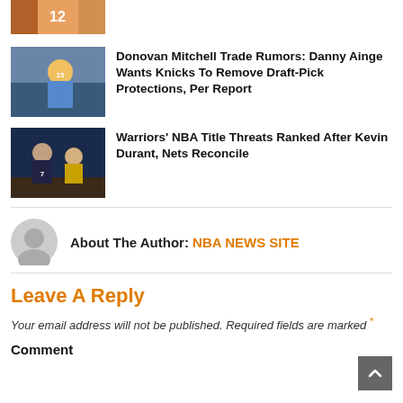[Figure (photo): Partial basketball player photo at top of page, jersey number 12]
[Figure (photo): Basketball player in yellow/blue uniform]
Donovan Mitchell Trade Rumors: Danny Ainge Wants Knicks To Remove Draft-Pick Protections, Per Report
[Figure (photo): Basketball players in dark uniforms on court]
Warriors’ NBA Title Threats Ranked After Kevin Durant, Nets Reconcile
About The Author: NBA NEWS SITE
Leave A Reply
Your email address will not be published. Required fields are marked *
Comment